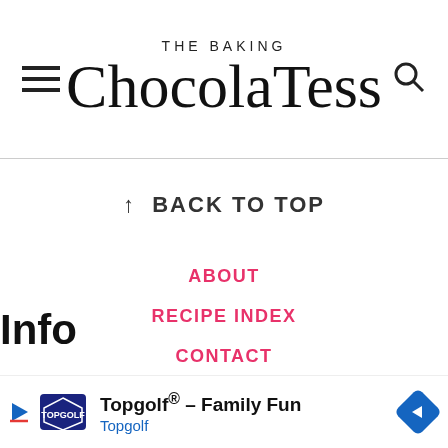THE BAKING ChocolaTess
↑ BACK TO TOP
Info
ABOUT
RECIPE INDEX
CONTACT
WORK WITH ME
PRIVACY POLICY
Topgolf® – Family Fun Topgolf